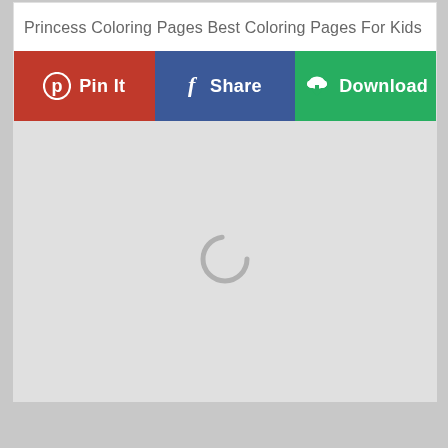Princess Coloring Pages Best Coloring Pages For Kids
[Figure (screenshot): Three social sharing buttons: Pin It (red, with Pinterest icon), Share (dark blue, with Facebook f icon), Download (green, with cloud/download icon)]
[Figure (other): Gray placeholder image area with a circular loading spinner in the center]